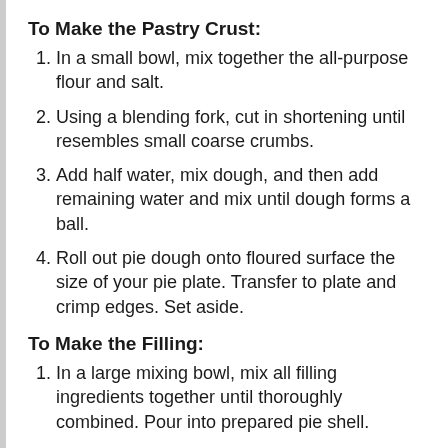To Make the Pastry Crust:
In a small bowl, mix together the all-purpose flour and salt.
Using a blending fork, cut in shortening until resembles small coarse crumbs.
Add half water, mix dough, and then add remaining water and mix until dough forms a ball.
Roll out pie dough onto floured surface the size of your pie plate. Transfer to plate and crimp edges. Set aside.
To Make the Filling:
In a large mixing bowl, mix all filling ingredients together until thoroughly combined. Pour into prepared pie shell.
Bake at 425 degrees on lower baking rack for 15 minutes and then decrease oven